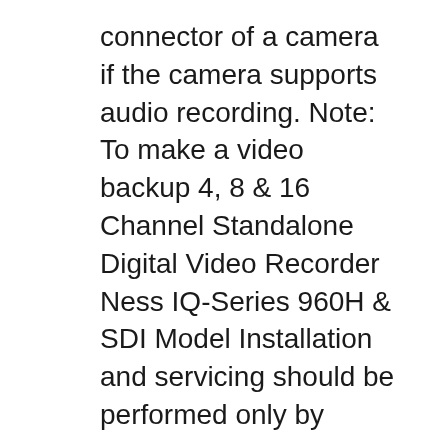connector of a camera if the camera supports audio recording. Note: To make a video backup 4, 8 & 16 Channel Standalone Digital Video Recorder Ness IQ-Series 960H & SDI Model Installation and servicing should be performed only by
USB DVR UNIT Quick Set up Guide Installation CD Quick Set up Guide. DVR connects to the computer with a USB cable. 1. USB DVR (Digital Video Recorder) Model # USB012 Quick Operation Guide of Digital Video Recorder 5 DVR Pre-Installation The HD-TVI series DVR is highly advanced surveillance equipment that should be installed carefully.